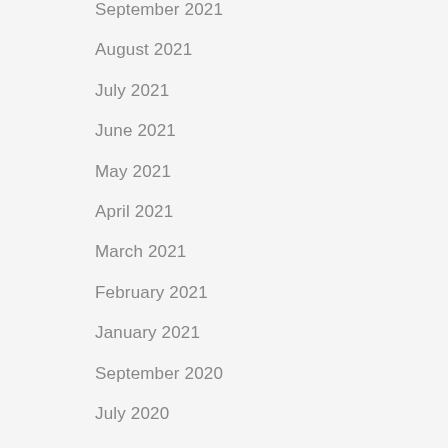September 2021
August 2021
July 2021
June 2021
May 2021
April 2021
March 2021
February 2021
January 2021
September 2020
July 2020